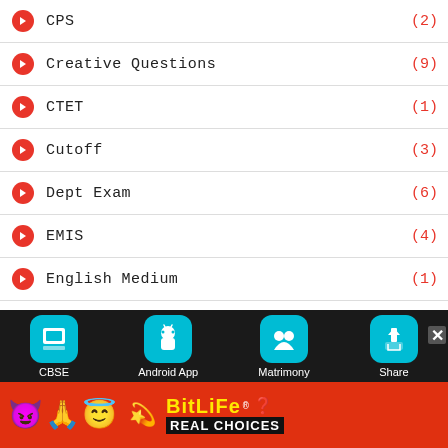CPS (2)
Creative Questions (9)
CTET (1)
Cutoff (3)
Dept Exam (6)
EMIS (4)
English Medium (1)
Epayroll (5)
Forms (1)
GO (2)
CBSE | Android App | Matrimony | Share
[Figure (infographic): BitLife advertisement banner with emojis and REAL CHOICES text]